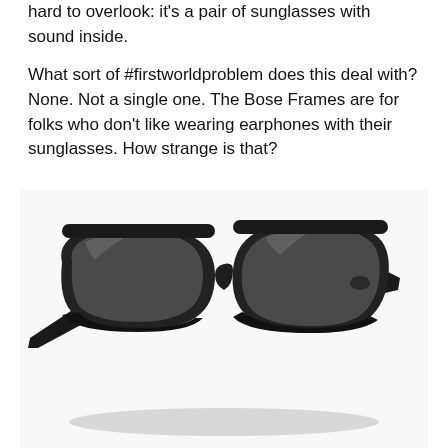hard to overlook: it's a pair of sunglasses with sound inside.

What sort of #firstworldproblem does this deal with? None. Not a single one. The Bose Frames are for folks who don't like wearing earphones with their sunglasses. How strange is that?
[Figure (photo): A pair of black Bose Frames sunglasses with thick frames and dark lenses, photographed on a white background at a slight angle.]